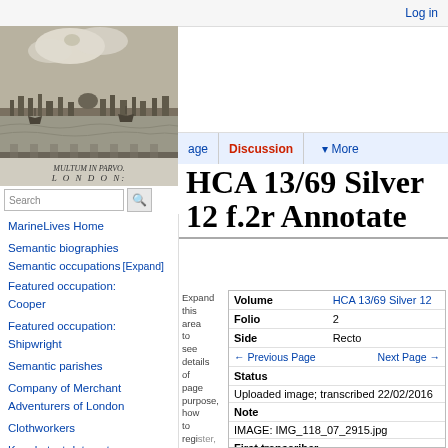Log in
[Figure (illustration): Engraving of London cityscape with Thames river, ships, and skyline. Caption reads 'MULTUM IN PARVO. LONDON:']
Discussion
More
Search
MarineLives Home
Semantic biographies
Semantic occupations [Expand]
Featured occupation: Cooper
Featured occupation: Shipwright
Semantic parishes
Company of Merchant Adventurers of London
Clothworkers
Kaggle test data set
Huntington Library transcription experiment
Huntington Library transcription
HCA 13/69 Silver 12 f.2r Annotate
Expand this area to see details of page purpose, how to register, how
| Field | Value |
| --- | --- |
| Volume | HCA 13/69 Silver 12 |
| Folio | 2 |
| Side | Recto |
|  | ← Previous Page   Next Page → |
| Status |  |
|  | Uploaded image; transcribed 22/02/2016 |
| Note |  |
|  | IMAGE: IMG_118_07_2915.jpg |
| First transcriber |  |
|  | Oliver Tanner |
| First transcribed |  |